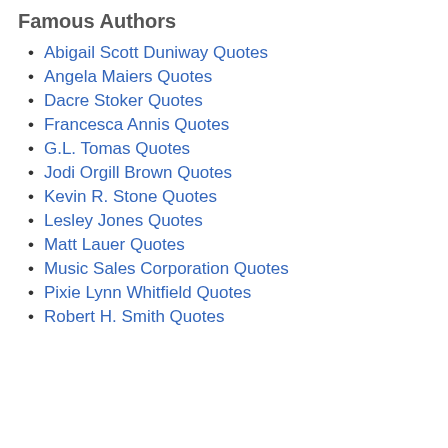Famous Authors
Abigail Scott Duniway Quotes
Angela Maiers Quotes
Dacre Stoker Quotes
Francesca Annis Quotes
G.L. Tomas Quotes
Jodi Orgill Brown Quotes
Kevin R. Stone Quotes
Lesley Jones Quotes
Matt Lauer Quotes
Music Sales Corporation Quotes
Pixie Lynn Whitfield Quotes
Robert H. Smith Quotes